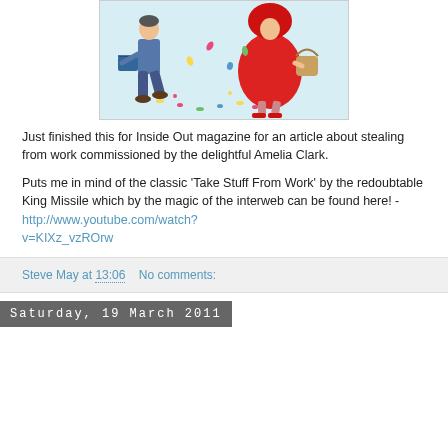[Figure (illustration): Cartoon illustration of two figures walking hurriedly — a man in a blue suit carrying a briefcase and a woman in a red dress carrying a basket, with colorful confetti scattered on the ground. Set against a light blue background with a white border.]
Just finished this for Inside Out magazine for an article about stealing from work commissioned by the delightful Amelia Clark.
Puts me in mind of the classic 'Take Stuff From Work' by the redoubtable King Missile which by the magic of the interweb can be found here! - http://www.youtube.com/watch?v=KIXz_vzROrw
Steve May at 13:06    No comments:
Saturday, 19 March 2011